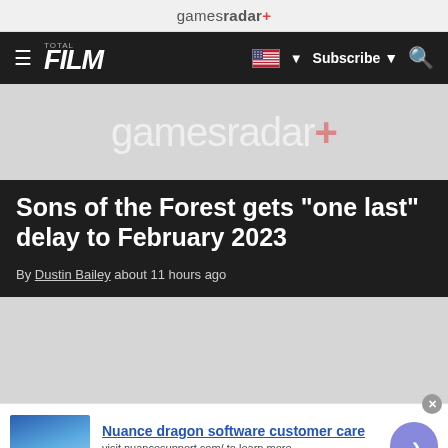gamesradar+
[Figure (screenshot): Navigation bar with TOTAL FILM logo, hamburger menu, US flag and Subscribe button, and search icon on dark background]
[Figure (logo): gamesradar+ logo watermark on light gray background]
Sons of the Forest gets "one last" delay to February 2023
By Dustin Bailey about 11 hours ago
[Figure (photo): Gray placeholder content area]
[Figure (photo): Advertisement: Nuance dragon software customer care - image of finger touching screen]
Nuance dragon software customer care
visit nuancesupport.com/ to learn more
www.nuancesupport.com